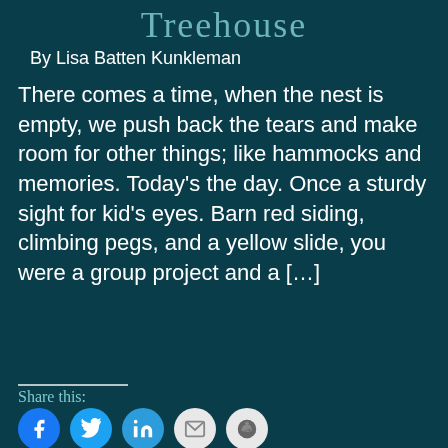Treehouse
By Lisa Batten Kunkleman
There comes a time, when the nest is empty, we push back the tears and make room for other things; like hammocks and memories. Today's the day. Once a sturdy sight for kid's eyes. Barn red siding, climbing pegs, and a yellow slide, you were a group project and a [...]
Share this: